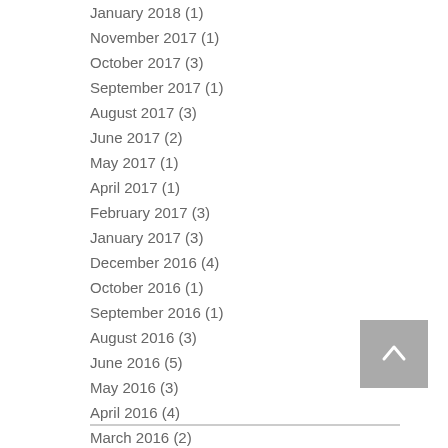January 2018 (1)
November 2017 (1)
October 2017 (3)
September 2017 (1)
August 2017 (3)
June 2017 (2)
May 2017 (1)
April 2017 (1)
February 2017 (3)
January 2017 (3)
December 2016 (4)
October 2016 (1)
September 2016 (1)
August 2016 (3)
June 2016 (5)
May 2016 (3)
April 2016 (4)
March 2016 (2)
February 2016 (2)
September 2012 (1)
Search By Tags